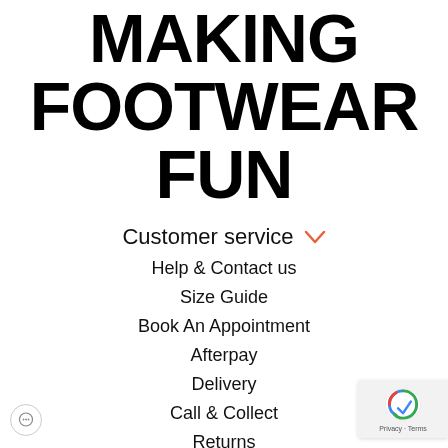MAKING FOOTWEAR FUN
Customer service
Help & Contact us
Size Guide
Book An Appointment
Afterpay
Delivery
Call & Collect
Returns
Create a Return
Track order